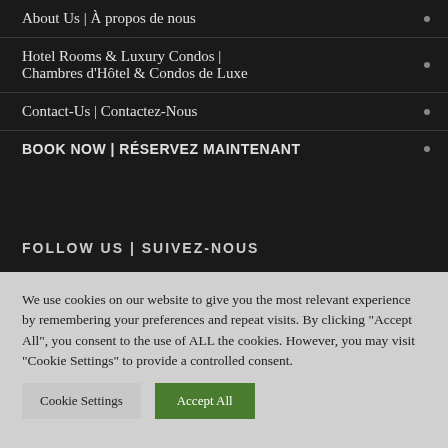About Us | À propos de nous
Hotel Rooms & Luxury Condos | Chambres d'Hôtel & Condos de Luxe
Contact-Us | Contactez-Nous
BOOK NOW | RÉSERVEZ MAINTENANT
FOLLOW US | SUIVEZ-NOUS
We use cookies on our website to give you the most relevant experience by remembering your preferences and repeat visits. By clicking "Accept All", you consent to the use of ALL the cookies. However, you may visit "Cookie Settings" to provide a controlled consent.
Cookie Settings | Accept All